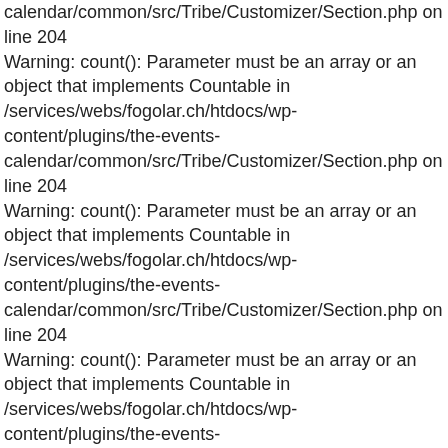calendar/common/src/Tribe/Customizer/Section.php on line 204 Warning: count(): Parameter must be an array or an object that implements Countable in /services/webs/fogolar.ch/htdocs/wp-content/plugins/the-events-calendar/common/src/Tribe/Customizer/Section.php on line 204 Warning: count(): Parameter must be an array or an object that implements Countable in /services/webs/fogolar.ch/htdocs/wp-content/plugins/the-events-calendar/common/src/Tribe/Customizer/Section.php on line 204 Warning: count(): Parameter must be an array or an object that implements Countable in /services/webs/fogolar.ch/htdocs/wp-content/plugins/the-events-calendar/common/src/Tribe/Customizer/Section.php on line 204 Warning: count(): Parameter must be an array or an object that implements Countable in /services/webs/fogolar.ch/htdocs/wp-content/plugins/the-events-calendar/common/src/Tribe/Customizer/Section.php on line 204 Warning: count(): Parameter must be an array or an object that implements Countable in /services/webs/fogolar.ch/htdocs/wp-